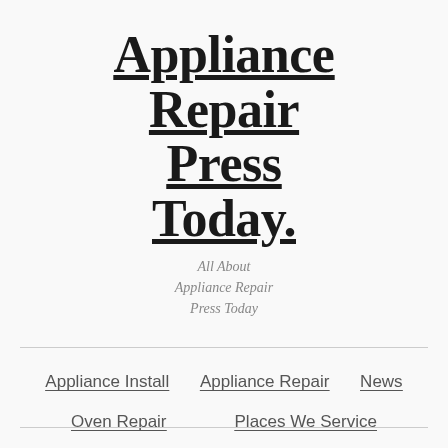Appliance Repair Press Today
All About Appliance Repair Press Today
Appliance Install
Appliance Repair
News
Oven Repair
Places We Service
Refrigerator Repair
Washer And Dryer Repair